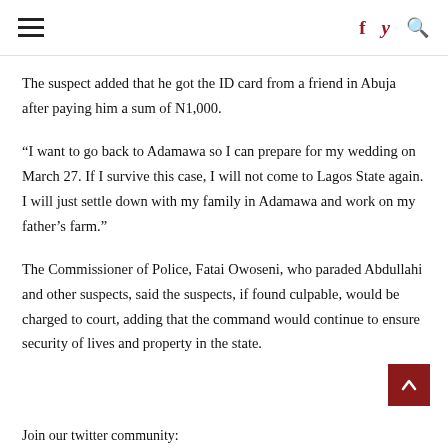≡  f  🐦  🔍
The suspect added that he got the ID card from a friend in Abuja after paying him a sum of N1,000.
“I want to go back to Adamawa so I can prepare for my wedding on March 27. If I survive this case, I will not come to Lagos State again. I will just settle down with my family in Adamawa and work on my father’s farm.”
The Commissioner of Police, Fatai Owoseni, who paraded Abdullahi and other suspects, said the suspects, if found culpable, would be charged to court, adding that the command would continue to ensure security of lives and property in the state.
Join our twitter community: